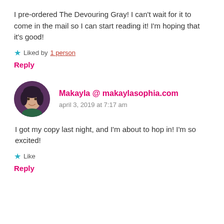I pre-ordered The Devouring Gray! I can't wait for it to come in the mail so I can start reading it! I'm hoping that it's good!
★ Liked by 1 person
Reply
Makayla @ makaylasophia.com
april 3, 2019 at 7:17 am
I got my copy last night, and I'm about to hop in! I'm so excited!
★ Like
Reply